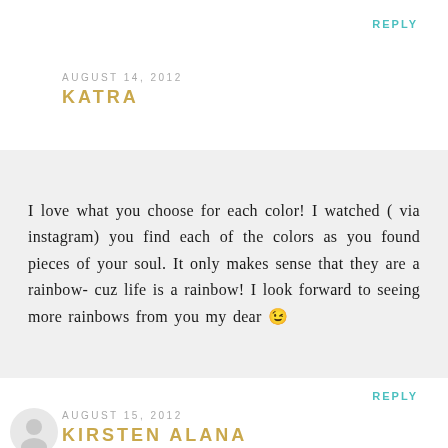REPLY
AUGUST 14, 2012
KATRA
I love what you choose for each color! I watched ( via instagram) you find each of the colors as you found pieces of your soul. It only makes sense that they are a rainbow- cuz life is a rainbow! I look forward to seeing more rainbows from you my dear 😉
REPLY
[Figure (illustration): Small circular avatar/portrait icon showing a silhouette of a person]
AUGUST 15, 2012
KIRSTEN ALANA